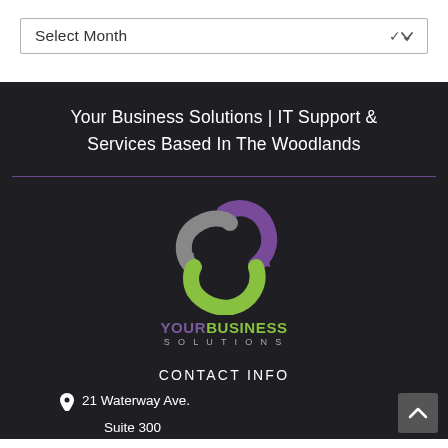[Figure (screenshot): Dropdown select box with label 'Select Month' and a chevron arrow on the right]
Your Business Solutions | IT Support & Services Based In The Woodlands
[Figure (logo): Your Business Solutions logo: three interlocking curved arrows in purple, green, and silver/grey, with 'YOURBUSINESS SOLUTIONS' text below]
CONTACT INFO
21 Waterway Ave.
Suite 300